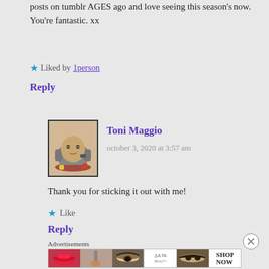posts on tumblr AGES ago and love seeing this season's now. You're fantastic. xx
Liked by 1person
Reply
[Figure (illustration): Avatar image of a cartoon potato-like character sitting in a grey armchair with food and drinks around it, framed with a black border.]
Toni Maggio
october 3, 2020 at 3:57 am
Thank you for sticking it out with me!
Like
Reply
Advertisements
[Figure (infographic): Advertisement banner showing makeup-related images: red lips, brush, eye with eyebrow, Ulta Beauty logo, smoky eye makeup, and SHOP NOW text.]